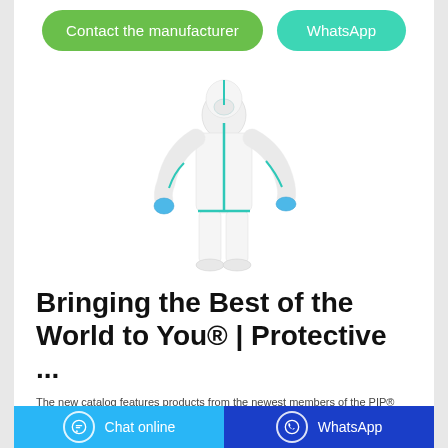[Figure (other): Two green/teal rounded buttons: 'Contact the manufacturer' and 'WhatsApp']
[Figure (photo): Person wearing a full white protective coverall suit with teal/blue zipper and trim, blue gloves and shoe covers, and a face mask, standing with arms slightly out]
Bringing the Best of the World to You® | Protective ...
The new catalog features products from the newest members of the PIP® Global family: Boss®, Dynamic®, Worldwide Protective Products, Uniform Technology®, QRP® and West Chester®. It has also been revamped to include a variety of new features for added convenience. VIEW NOW DOWNLOAD NOW. PIP® ESSENTIALS™.
[Figure (other): Bottom bar with two buttons: light blue 'Chat online' with chat icon on left, and dark blue 'WhatsApp' with WhatsApp icon on right]